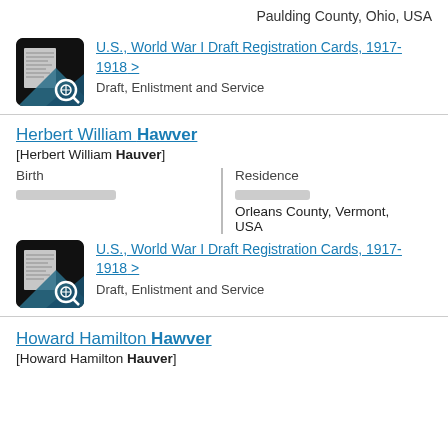Paulding County, Ohio, USA
[Figure (other): Thumbnail of WWI draft registration card document]
U.S., World War I Draft Registration Cards, 1917-1918 > Draft, Enlistment and Service
Herbert William Hawver [Herbert William Hauver]
Birth
Residence
Orleans County, Vermont, USA
[Figure (other): Thumbnail of WWI draft registration card document]
U.S., World War I Draft Registration Cards, 1917-1918 > Draft, Enlistment and Service
Howard Hamilton Hawver [Howard Hamilton Hauver]